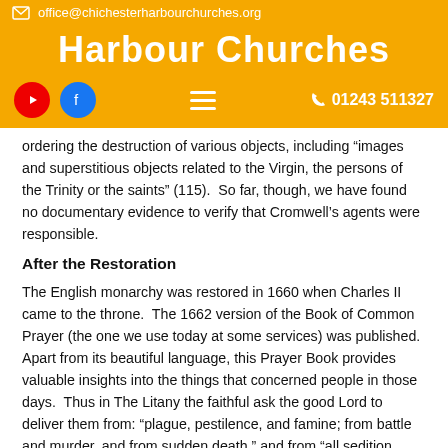office@chichesterharbourchurches.org
Harbour Churches
01243 511327
ordering the destruction of various objects, including “images and superstitious objects related to the Virgin, the persons of the Trinity or the saints” (115).  So far, though, we have found no documentary evidence to verify that Cromwell’s agents were responsible.
After the Restoration
The English monarchy was restored in 1660 when Charles II came to the throne.  The 1662 version of the Book of Common Prayer (the one we use today at some services) was published.  Apart from its beautiful language, this Prayer Book provides valuable insights into the things that concerned people in those days.  Thus in The Litany the faithful ask the good Lord to deliver them from: “plague, pestilence, and famine; from battle and murder, and from sudden death,” and from “all sedition, privy conspiracy, and rebellion…” (116).  A whole service is provided for “The Thanksgiving of Women after Childbirth” also known